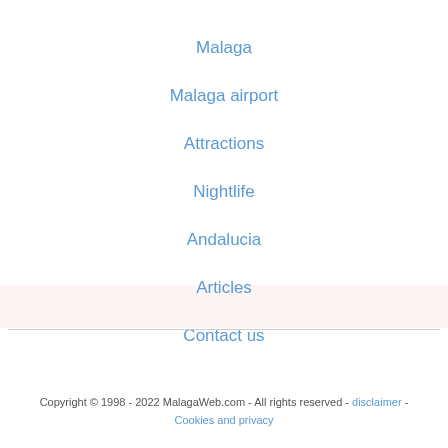Malaga
Malaga airport
Attractions
Nightlife
Andalucia
Articles
Contact us
Copyright © 1998 - 2022 MalagaWeb.com - All rights reserved - disclaimer  -  Cookies and privacy